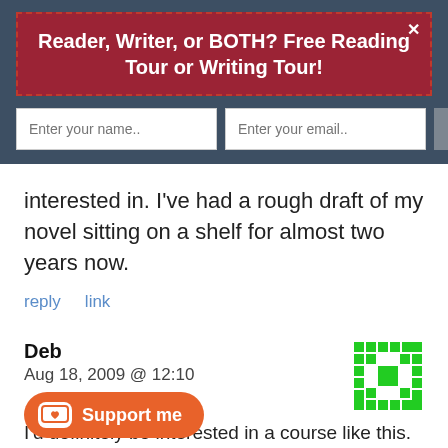Reader, Writer, or BOTH? Free Reading Tour or Writing Tour!
Enter your name..
Enter your email..
Subscribe Now
interested in. I've had a rough draft of my novel sitting on a shelf for almost two years now.
reply   link
Deb
Aug 18, 2009 @ 12:10
[Figure (illustration): Green pixel art avatar icon for user Deb]
I'd definitely be interested in a course like this.
reply   link
Support me